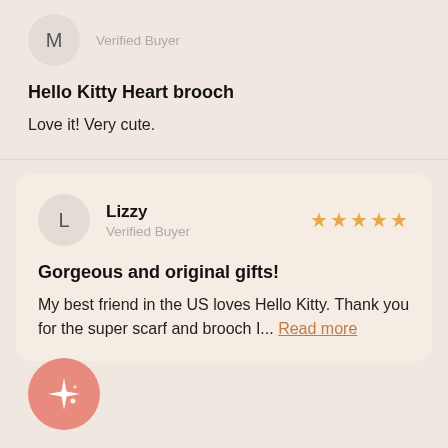[Figure (other): Avatar circle with letter M]
Verified Buyer
Hello Kitty Heart brooch
Love it! Very cute.
[Figure (other): Avatar circle with letter L]
Lizzy
Verified Buyer
★★★★★
Gorgeous and original gifts!
My best friend in the US loves Hello Kitty. Thank you for the super scarf and brooch I... Read more
[Figure (other): Pink sparkle/star button circle]